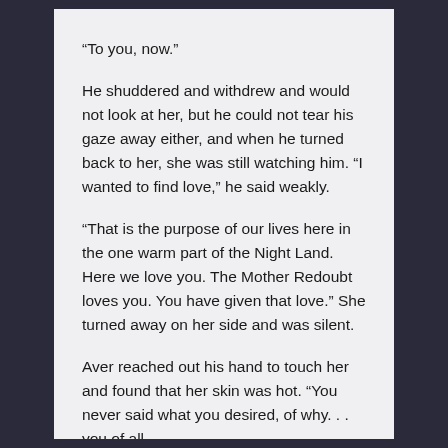“To you, now.”
He shuddered and withdrew and would not look at her, but he could not tear his gaze away either, and when he turned back to her, she was still watching him. “I wanted to find love,” he said weakly.
“That is the purpose of our lives here in the one warm part of the Night Land. Here we love you. The Mother Redoubt loves you. You have given that love.” She turned away on her side and was silent.
Aver reached out his hand to touch her and found that her skin was hot. “You never said what you desired, of why. . . you of all. . .